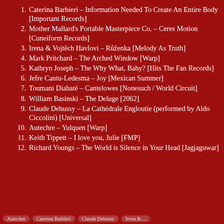Caterina Barbieri – Information Needed To Create An Entire Body [Important Records]
Mother Mallard's Portable Masterpiece Co. – Ceres Motion [Cuneiform Records]
Irena & Vojtěch Havlovi – Růženka [Melody As Truth]
Mark Pritchard – The Arched Window [Warp]
Kathryn Joseph – The Why What, Baby? [Hits The Fan Records]
Jefre Cantu-Ledesma – Joy [Mexican Summer]
Toumani Diabaté – Cantelowes [Nonesuch / World Circuit]
William Basinski – The Deluge [2062]
Claude Debussy – La Cathédrale Engloutie (performed by Aldo Ciccolini) [Universal]
Autechre – Yulquen [Warp]
Keith Tippett – I love you, Julie [FMP]
Richard Youngs – The World is Silence in Your Head [Jagjaguwar]
Tagged: Autechre, Caterina Barbieri, Claude Debussy, ...